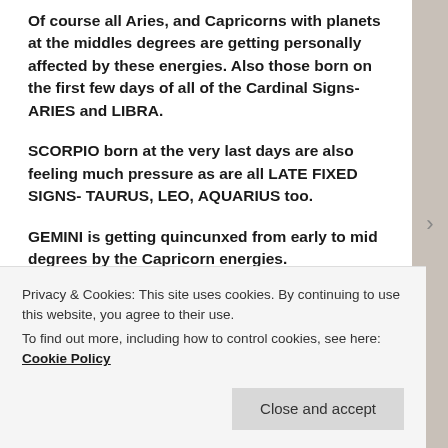Of course all Aries, and Capricorns with planets at the middles degrees are getting personally affected by these energies. Also those born on the first few days of all of the Cardinal Signs- ARIES and LIBRA.
SCORPIO born at the very last days are also feeling much pressure as are all LATE FIXED SIGNS- TAURUS, LEO, AQUARIUS too.
GEMINI is getting quincunxed from early to mid degrees by the Capricorn energies.
LEO's born August 13-17 are also feeling hard hit with Jupiter's Retrograde as are AQUARIANS born Feb 13-
Privacy & Cookies: This site uses cookies. By continuing to use this website, you agree to their use.
To find out more, including how to control cookies, see here: Cookie Policy